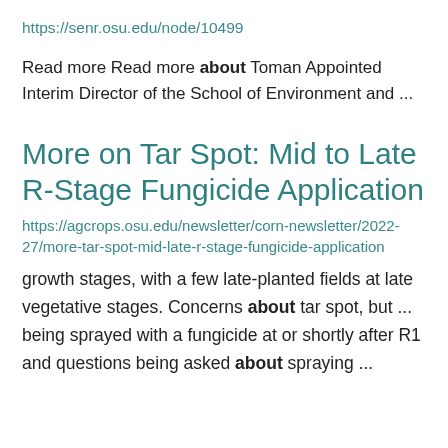https://senr.osu.edu/node/10499
Read more Read more about Toman Appointed Interim Director of the School of Environment and ...
More on Tar Spot: Mid to Late R-Stage Fungicide Application
https://agcrops.osu.edu/newsletter/corn-newsletter/2022-27/more-tar-spot-mid-late-r-stage-fungicide-application
growth stages, with a few late-planted fields at late vegetative stages. Concerns about tar spot, but ... being sprayed with a fungicide at or shortly after R1 and questions being asked about spraying ...